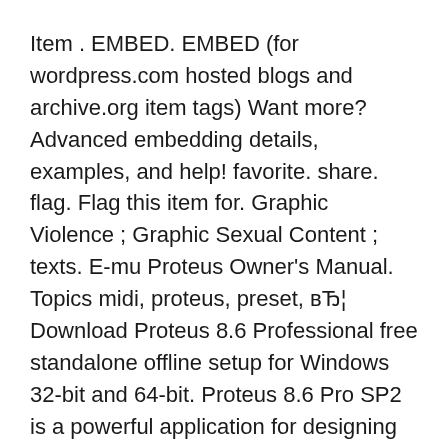Item . EMBED. EMBED (for wordpress.com hosted blogs and archive.org item tags) Want more? Advanced embedding details, examples, and help! favorite. share. flag. Flag this item for. Graphic Violence ; Graphic Sexual Content ; texts. E-mu Proteus Owner's Manual. Topics midi, proteus, preset, вЂ¦ Download Proteus 8.6 Professional free standalone offline setup for Windows 32-bit and 64-bit. Proteus 8.6 Pro SP2 is a powerful application for designing circuit boards and provides various other options to help the designers.
13/05/2012В В· E-mu Proteus Owner's Manual Item Preview remove-circle Share or Embed This Item . EMBED. EMBED (for wordpress.com hosted blogs and archive.org item tags) Wa…